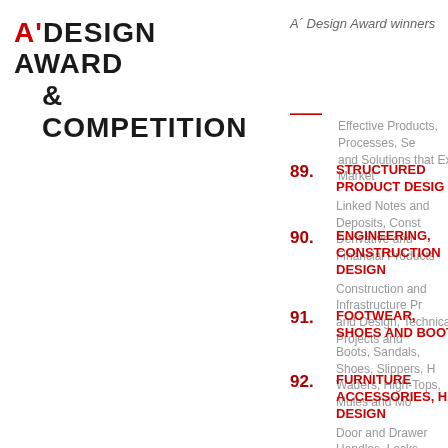A'DESIGN AWARD & COMPETITION
A' Design Award winners
89. STRUCTURED PRODUCT DESIGN — Linked Notes and Deposits, Constr... Derivative and Financial Products
90. ENGINEERING, CONSTRUCTION DESIGN — Construction and Infrastructure Pr... and Design, Technical Projects and
91. FOOTWEAR, SHOES AND BOOT — Boots, Sandals, Shoes, Slippers, H... Waders, High-Tops, Mules and Mo
92. FURNITURE ACCESSORIES, HA DESIGN — Door and Drawer Handles, Locks, Chipboards. Furniture Materials and
93. LIMITED EDITION DESIGN AWAR — Designs Produced from 9 to 1001... Customized Industrial Designs and
94. DESIGN QUALITY AND INNOVAT — Designs with Highest Details, Well... Products. Highly Innovative Design